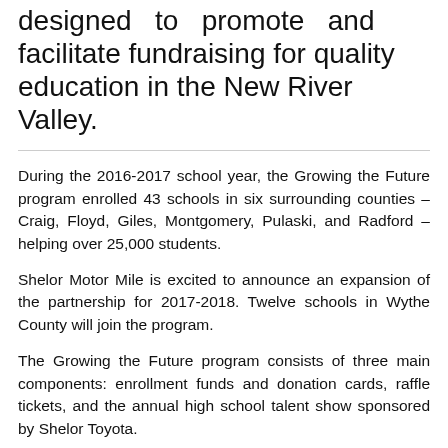designed to promote and facilitate fundraising for quality education in the New River Valley.
During the 2016-2017 school year, the Growing the Future program enrolled 43 schools in six surrounding counties – Craig, Floyd, Giles, Montgomery, Pulaski, and Radford – helping over 25,000 students.
Shelor Motor Mile is excited to announce an expansion of the partnership for 2017-2018. Twelve schools in Wythe County will join the program.
The Growing the Future program consists of three main components: enrollment funds and donation cards, raffle tickets, and the annual high school talent show sponsored by Shelor Toyota.